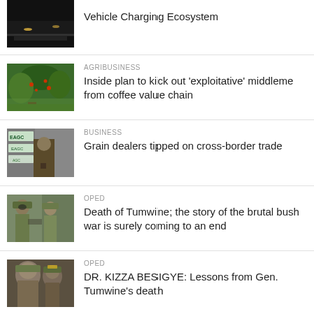Vehicle Charging Ecosystem
[Figure (photo): Dark nighttime photo, likely road or parking area]
AGRIBUSINESS
[Figure (photo): Person among coffee plants with red berries]
Inside plan to kick out 'exploitative' middleme from coffee value chain
BUSINESS
[Figure (photo): Person at a podium with EAGC banners/signs in background]
Grain dealers tipped on cross-border trade
OPED
[Figure (photo): Military officials in uniform, one wearing sunglasses]
Death of Tumwine; the story of the brutal bush war is surely coming to an end
OPED
[Figure (photo): Older man in military uniform with another figure]
DR. KIZZA BESIGYE: Lessons from Gen. Tumwine's death